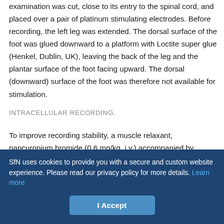examination was cut, close to its entry to the spinal cord, and placed over a pair of platinum stimulating electrodes. Before recording, the left leg was extended. The dorsal surface of the foot was glued downward to a platform with Loctite super glue (Henkel, Dublin, UK), leaving the back of the leg and the plantar surface of the foot facing upward. The dorsal (downward) surface of the foot was therefore not available for stimulation.
INTRACELLULAR RECORDING.
To improve recording stability, a muscle relaxant, pancuronium bromide (0.6 mg/kg, i.v.) accompanied by anesthetic (10 mg/kg, i.v.) was administered just before recording; the same doses of muscle relaxant and anesthetic were given together at regular intervals (~1
SfN uses cookies to provide you with a secure and custom website experience. Please read our privacy policy for more details. Learn more